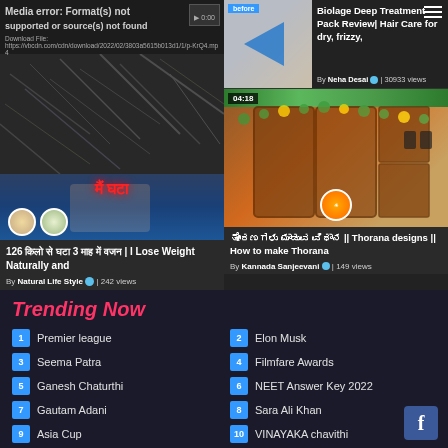[Figure (screenshot): Media error box with text 'Media error: Format(s) not supported or source(s) not found' and a download file URL]
Media error: Format(s) not supported or source(s) not found
Download File:
https://vbcdn.com/cdn/download/2022/02/3803a5615b013d1/1/p-KrQ4.mp4
[Figure (screenshot): Video thumbnail for weight loss content with Hindi text and two avatar circles]
126 [Hindi text] 3 [Hindi text] | I Lose Weight Naturally and
By Natural Life Style ✓ | 242 views
[Figure (screenshot): Thumbnail for Biolage hair care product review with before/after image]
Biolage Deep Treatment Pack Review| Hair Care for dry, frizzy,
By Neha Desai ✓ | 30933 views
[Figure (screenshot): Door decoration / Thorana design video thumbnail with timestamp 04:18]
[Kannada text] || Thorana designs || How to make Thorana
By Kannada Sanjeevani ✓ | 149 views
Trending Now
1 Premier league
2 Elon Musk
3 Seema Patra
4 Filmfare Awards
5 Ganesh Chaturthi
6 NEET Answer Key 2022
7 Gautam Adani
8 Sara Ali Khan
9 Asia Cup
10 VINAYAKA chavithi